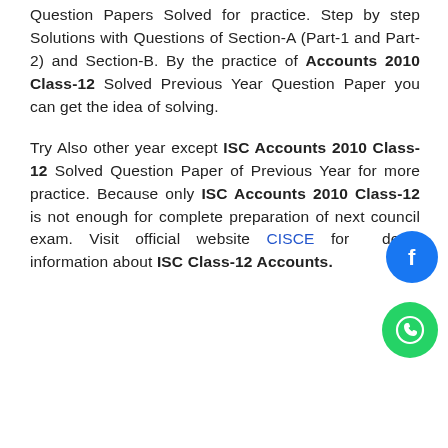Question Papers Solved for practice. Step by step Solutions with Questions of Section-A (Part-1 and Part-2) and Section-B. By the practice of Accounts 2010 Class-12 Solved Previous Year Question Paper you can get the idea of solving.

Try Also other year except ISC Accounts 2010 Class-12 Solved Question Paper of Previous Year for more practice. Because only ISC Accounts 2010 Class-12 is not enough for complete preparation of next council exam. Visit official website CISCE for detail information about ISC Class-12 Accounts.
[Figure (illustration): Facebook social share button (round blue circle with white Facebook 'f' icon)]
[Figure (illustration): WhatsApp social share button (round green circle with white WhatsApp phone/speech icon)]